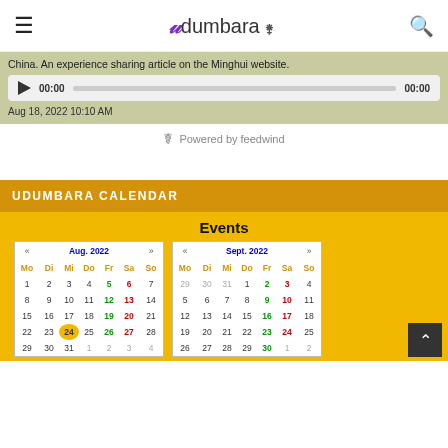≡  Udumbara  🔍
China. An experience sharing article on the Minghui website.
[Figure (screenshot): Audio player widget with play button, 00:00 time display, progress bar, and 00:00 end time]
Aug 18, 2022 10:10 AM
Powered by feedwind
UDUMBARA CALENDAR
[Figure (other): Events calendar showing Aug. 2022 and Sept. 2022 mini-calendars with highlighted dates on yellow background]